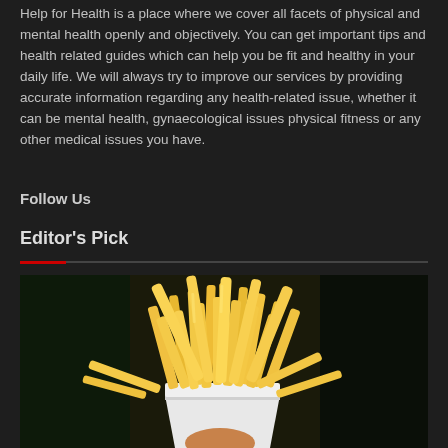Help for Health is a place where we cover all facets of physical and mental health openly and objectively. You can get important tips and health related guides which can help you be fit and healthy in your daily life. We will always try to improve our services by providing accurate information regarding any health-related issue, whether it can be mental health, gynaecological issues physical fitness or any other medical issues you have.
Follow Us
Editor's Pick
[Figure (photo): A hand holding a white cup/container filled with golden yellow french fries against a dark background]